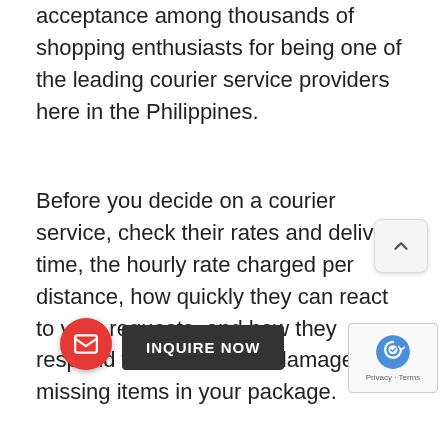acceptance among thousands of shopping enthusiasts for being one of the leading courier service providers here in the Philippines.
Before you decide on a courier service, check their rates and delivery time, the hourly rate charged per distance, how quickly they can react to your requests, and how they respond when there are damages or missing items in your package.
As you can see, there are a number of good logistics companies in the Philippines that you can choose from when it comes to your online shop. There’s certainly no shortage of options. All you have to do is look around, do a little research, and compare their rates and services. When it comes to logistics s… in the Philippines, you’ve got options. yo… looking to get goods shipped within th… country, keep the companies mentioned above in